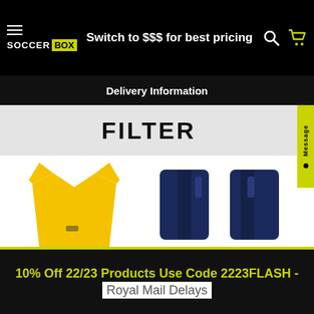Switch to $$$ for best pricing
Delivery Information
FILTER
[Figure (photo): Yellow Brazil Nike football shirt product photo, partially visible]
[Figure (photo): Navy blue England Home football shorts product photo, partially visible]
BRAZIL NIKE AUTHENTIC HOME SHIRT 2018/19 (ADULTS)
Out of stock
ENGLAND HOME FOOTBALL SHORTS 2018/19 (ADULTS)
Out of stock
10% Off 22/23 Products Use Code 2223FLASH - Royal Mail Delays